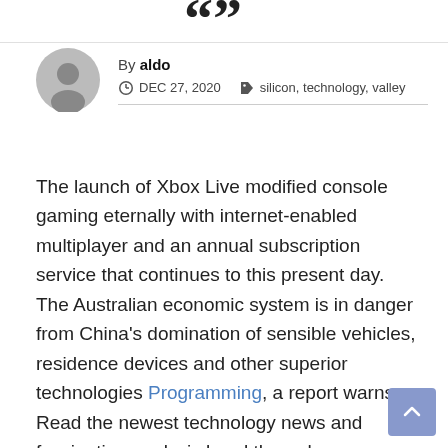"
By aldo
DEC 27, 2020   silicon, technology, valley
The launch of Xbox Live modified console gaming eternally with internet-enabled multiplayer and an annual subscription service that continues to this present day. The Australian economic system is in danger from China's domination of sensible vehicles, residence devices and other superior technologies Programming, a report warns. Read the newest technology news and fascinating analysis breakthroughs on SciTechDaily. Casual pc users have most likely